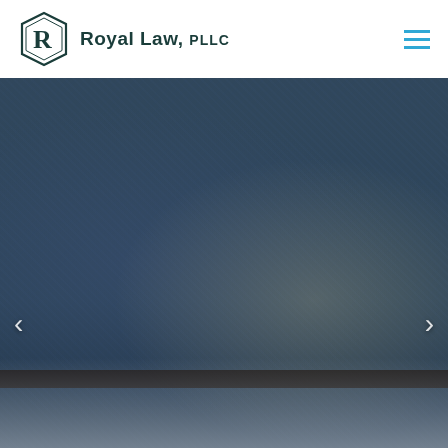[Figure (logo): Royal Law PLLC logo — hexagonal badge with letter R in dark teal, followed by company name 'Royal Law, PLLC' in dark teal serif text]
[Figure (photo): Hero background photograph showing a person in a blue patterned button-up shirt, partially visible documents on a dark table in the lower portion. Dark overlay on image. Left and right carousel navigation arrows visible.]